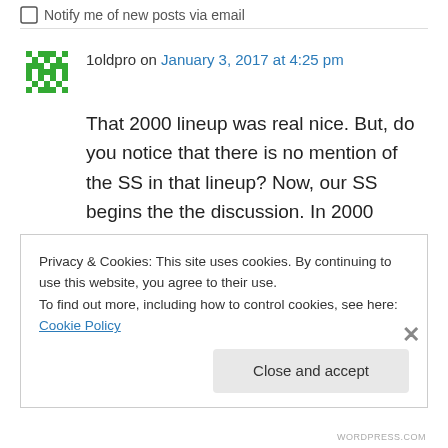Notify me of new posts via email
1oldpro on January 3, 2017 at 4:25 pm
That 2000 lineup was real nice. But, do you notice that there is no mention of the SS in that lineup? Now, our SS begins the the discussion. In 2000 Spiers opened the year in LF and Berkman wasn't in the lineup, but would soon be. Bogar was SS. That lineup would soon change with the exits of Alou and Cammy in the
Privacy & Cookies: This site uses cookies. By continuing to use this website, you agree to their use.
To find out more, including how to control cookies, see here: Cookie Policy
Close and accept